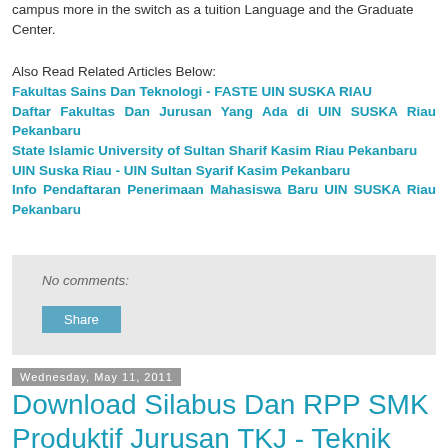campus more in the switch as a tuition Language and the Graduate Center.
Also Read Related Articles Below:
Fakultas Sains Dan Teknologi - FASTE UIN SUSKA RIAU
Daftar Fakultas Dan Jurusan Yang Ada di UIN SUSKA Riau Pekanbaru
State Islamic University of Sultan Sharif Kasim Riau Pekanbaru
UIN Suska Riau - UIN Sultan Syarif Kasim Pekanbaru
Info Pendaftaran Penerimaan Mahasiswa Baru UIN SUSKA Riau Pekanbaru
No comments:
Share
Wednesday, May 11, 2011
Download Silabus Dan RPP SMK Produktif Jurusan TKJ - Teknik Komputer dan Jaringan